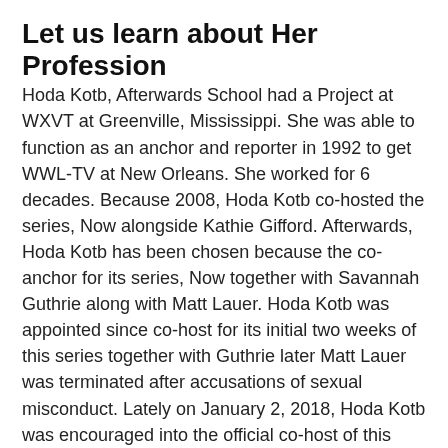Let us learn about Her Profession
Hoda Kotb, Afterwards School had a Project at WXVT at Greenville, Mississippi. She was able to function as an anchor and reporter in 1992 to get WWL-TV at New Orleans. She worked for 6 decades. Because 2008, Hoda Kotb co-hosted the series, Now alongside Kathie Gifford. Afterwards, Hoda Kotb has been chosen because the co-anchor for its series, Now together with Savannah Guthrie along with Matt Lauer. Hoda Kotb was appointed since co-host for its initial two weeks of this series together with Guthrie later Matt Lauer was terminated after accusations of sexual misconduct. Lately on January 2, 2018, Hoda Kotb was encouraged into the official co-host of this series. The book was printed in 2010. Hoda subsequently released her next publication titled “Ten Decades